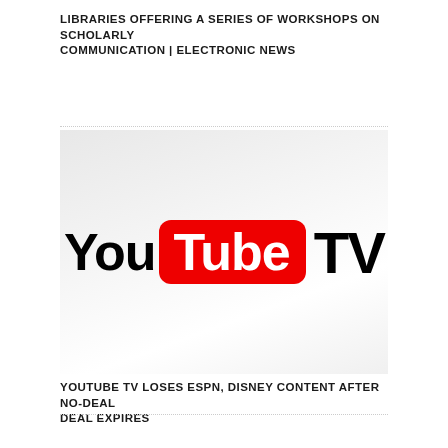LIBRARIES OFFERING A SERIES OF WORKSHOPS ON SCHOLARLY COMMUNICATION | ELECTRONIC NEWS
[Figure (logo): YouTube TV logo on a light grey gradient background. The word 'You' in bold black, 'Tube' in white inside a red rounded rectangle, then 'TV' in bold black.]
YOUTUBE TV LOSES ESPN, DISNEY CONTENT AFTER NO-DEAL DEAL EXPIRES